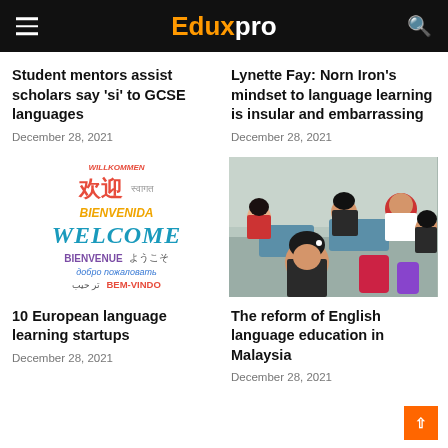Eduxpro
Student mentors assist scholars say 'si' to GCSE languages
December 28, 2021
Lynette Fay: Norn Iron's mindset to language learning is insular and embarrassing
December 28, 2021
[Figure (illustration): Multilingual welcome word cloud showing Welcome in many languages: WILLKOMMEN, 欢迎, स्वागत, BIENVENIDA, WELCOME, BIENVENUE, ようこそ, добро пожаловать, تر حیب, BEM-VINDO]
[Figure (photo): Schoolchildren in uniforms sitting at desks in a classroom in Malaysia]
10 European language learning startups
December 28, 2021
The reform of English language education in Malaysia
December 28, 2021